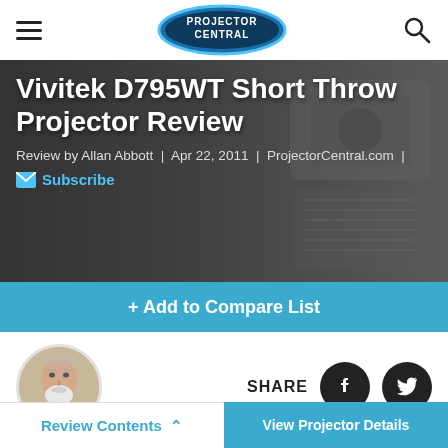Projector Central
[Figure (photo): Vivitek D795WT short throw projector hardware photo used as hero background]
Vivitek D795WT Short Throw Projector Review
Review by Allan Abbott | Apr 22, 2011 | ProjectorCentral.com |
Subscribe
+ Add to Compare List
[Figure (photo): Circular headshot photo of Allan Abbott, older man with white beard]
SHARE
Allan Abbott
In This Review
Review Contents  ^    View Projector Details